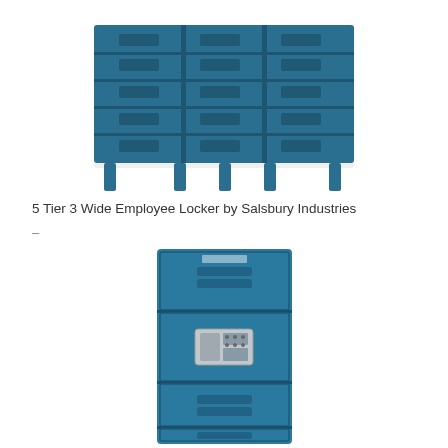[Figure (photo): 5 Tier 3 Wide Employee Locker by Salsbury Industries — a wide, low-profile blue metal locker unit with 15 compartments (5 rows x 3 columns), mounted on legs, shown on white background.]
5 Tier 3 Wide Employee Locker by Salsbury Industries
–
[Figure (photo): A tall blue metal locker unit (3 tiers with digital/combination lock on middle door), shown on white background.]